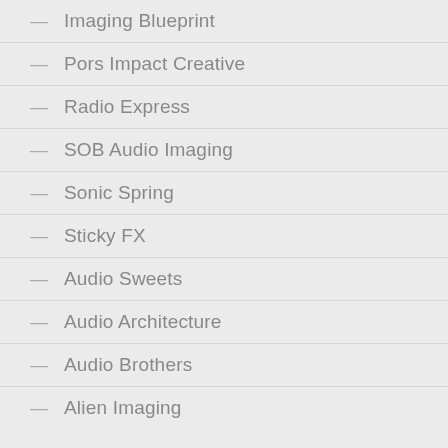Imaging Blueprint
Pors Impact Creative
Radio Express
SOB Audio Imaging
Sonic Spring
Sticky FX
Audio Sweets
Audio Architecture
Audio Brothers
Alien Imaging